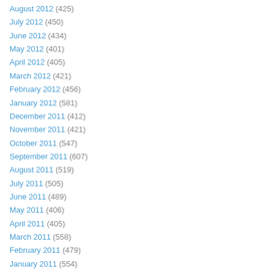August 2012 (425)
July 2012 (450)
June 2012 (434)
May 2012 (401)
April 2012 (405)
March 2012 (421)
February 2012 (456)
January 2012 (581)
December 2011 (412)
November 2011 (421)
October 2011 (547)
September 2011 (607)
August 2011 (519)
July 2011 (505)
June 2011 (489)
May 2011 (406)
April 2011 (405)
March 2011 (558)
February 2011 (479)
January 2011 (554)